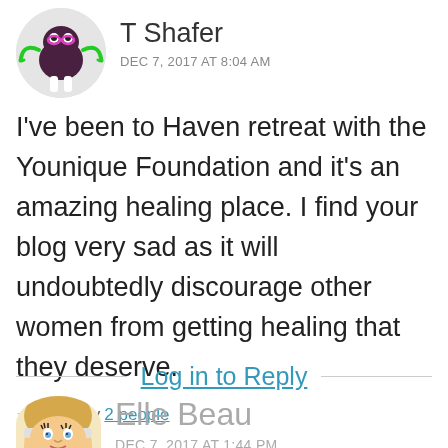[Figure (illustration): Cartoon avatar of a dark purple blob-like creature with green arms, wearing pink glasses, white legs, on a light grey circular background]
T Shafer
DEC 7, 2017 AT 8:04 AM
I've been to Haven retreat with the Younique Foundation and it's an amazing healing place. I find your blog very sad as it will undoubtedly discourage other women from getting healing that they deserve.
★ Liked by 2 people
Log in to Reply
[Figure (illustration): Cartoon Bitmoji-style avatar of a blonde woman with a ponytail, dramatic eye makeup, on a light background]
Elle Beau
DEC 7, 2017 AT 1:44 PM